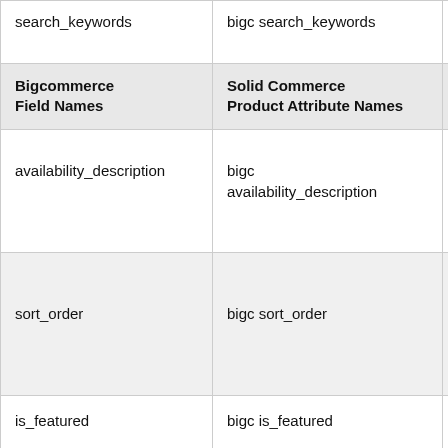| Bigcommerce Field Names | Solid Commerce Product Attribute Names | Product Spreadsheet Column Names (truncated) |
| --- | --- | --- |
| search_keywords | bigc search_keywords | product search_keywords (truncated) |
| availability_description | bigc availability_description | product availability_description (truncated) |
| sort_order | bigc sort_order | product sort_order (truncated) |
| is_featured | bigc is_featured | product is_featured (truncated) |
|  |  |  |